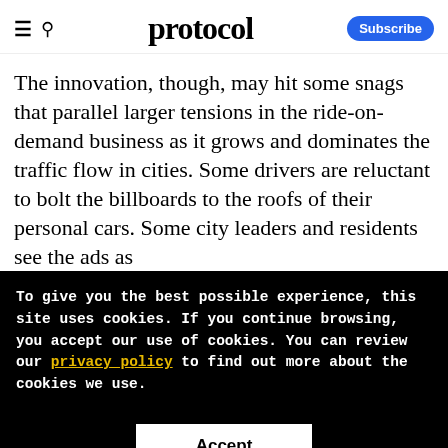protocol
The innovation, though, may hit some snags that parallel larger tensions in the ride-on-demand business as it grows and dominates the traffic flow in cities. Some drivers are reluctant to bolt the billboards to the roofs of their personal cars. Some city leaders and residents see the ads as
To give you the best possible experience, this site uses cookies. If you continue browsing, you accept our use of cookies. You can review our privacy policy to find out more about the cookies we use.
Accept